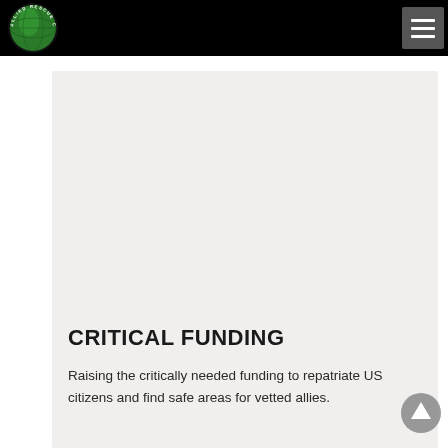[Figure (logo): Allied Rescue Coalition circular logo with green globe and white text around the border]
[Figure (other): Hamburger menu button (three horizontal white lines on dark gray square background) in top right of navigation bar]
CRITICAL FUNDING
Raising the critically needed funding to repatriate US citizens and find safe areas for vetted allies.
[Figure (other): Gray circular scroll-to-top arrow button in bottom right corner]